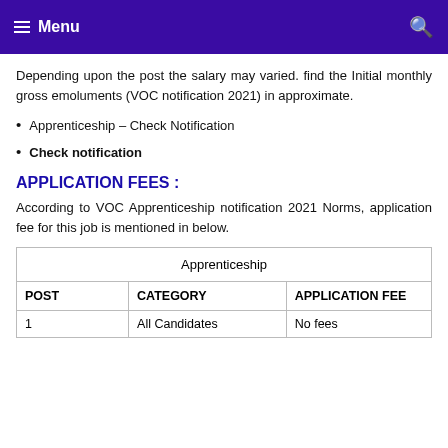Menu
Depending upon the post the salary may varied. find the Initial monthly gross emoluments (VOC notification 2021) in approximate.
Apprenticeship – Check Notification
Check notification
APPLICATION FEES :
According to VOC Apprenticeship notification 2021 Norms, application fee for this job is mentioned in below.
| POST | CATEGORY | APPLICATION FEE |
| --- | --- | --- |
| 1 | All Candidates | No fees |